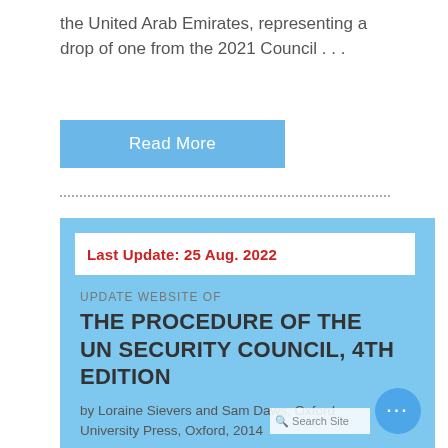the United Arab Emirates, representing a drop of one from the 2021 Council . . .
Read More
Last Update:  25 Aug. 2022
UPDATE WEBSITE OF
THE PROCEDURE OF THE UN SECURITY COUNCIL, 4TH EDITION
by Loraine Sievers and Sam Daws, Oxford University Press, Oxford, 2014